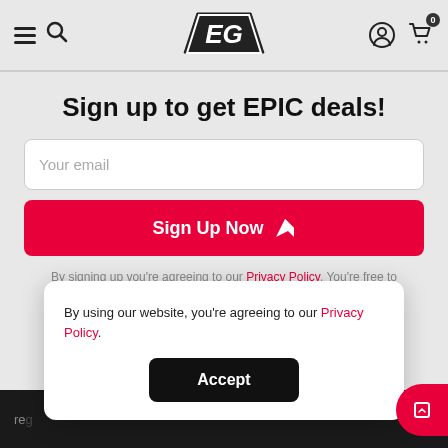EG logo, navigation with hamburger menu, search, account, and cart icons
Sign up to get EPIC deals!
Your email
Sign Up Now
By signing up you're agreeing to our Privacy Policy. You're free to unsubscribe at any time using the link in the email.
By using our website, you're agreeing to our Privacy Policy.
Accept
reg